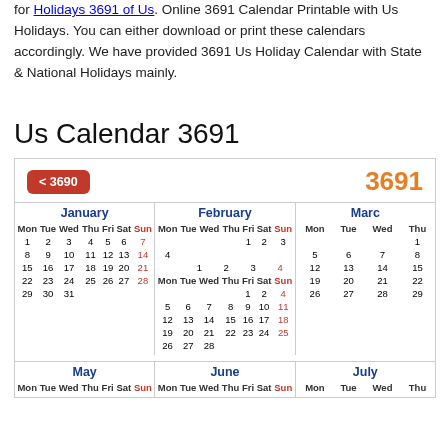for Holidays 3691 of Us. Online 3691 Calendar Printable with Us Holidays. You can either download or print these calendars accordingly. We have provided 3691 Us Holiday Calendar with State & National Holidays mainly.
Us Calendar 3691
| January | February | March |
| --- | --- | --- |
| Mon Tue Wed Thu Fri Sat Sun | Mon Tue Wed Thu Fri Sat Sun | Mon Tue Wed Thu |
| 1 2 3 4 5 6 7 | 1 2 3 4 | 1 |
| 8 9 10 11 12 13 14 | 5 6 7 8 9 10 11 | 5 6 7 8 |
| 15 16 17 18 19 20 21 | 12 13 14 15 16 17 18 | 12 13 14 15 |
| 22 23 24 25 26 27 28 | 19 20 21 22 23 24 25 | 19 20 21 22 |
| 29 30 31 | 26 27 28 | 26 27 28 29 |
| May | June | July |
| --- | --- | --- |
| Mon Tue Wed Thu Fri Sat Sun | Mon Tue Wed Thu Fri Sat Sun | Mon Tue Wed Thu |